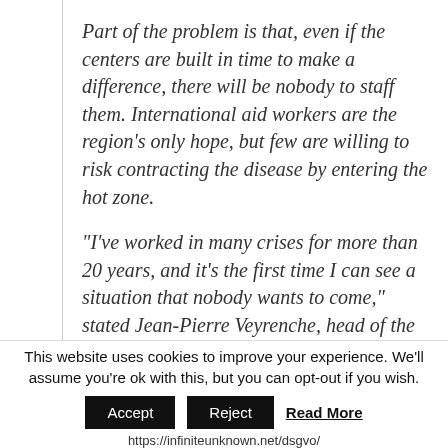Part of the problem is that, even if the centers are built in time to make a difference, there will be nobody to staff them. International aid workers are the region's only hope, but few are willing to risk contracting the disease by entering the hot zone.
“I’ve worked in many crises for more than 20 years, and it’s the first time I can see a situation that nobody wants to come,” stated Jean-Pierre Veyrenche, head of the World Health Organization’s (WHO) plans to build more treatment centers in West Africa. “There’s plenty of money, so that’s
This website uses cookies to improve your experience. We’ll assume you’re ok with this, but you can opt-out if you wish.
Accept   Reject   Read More
https://infiniteunknown.net/dsgvo/